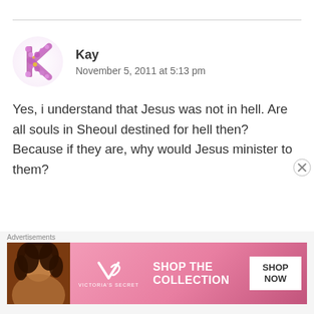[Figure (illustration): Floral letter K avatar for commenter Kay]
Kay
November 5, 2011 at 5:13 pm
Yes, i understand that Jesus was not in hell. Are all souls in Sheoul destined for hell then? Because if they are, why would Jesus minister to them?
Advertisements
[Figure (screenshot): Victoria's Secret advertisement banner: woman with curly hair, VS logo, 'SHOP THE COLLECTION', 'SHOP NOW' button]